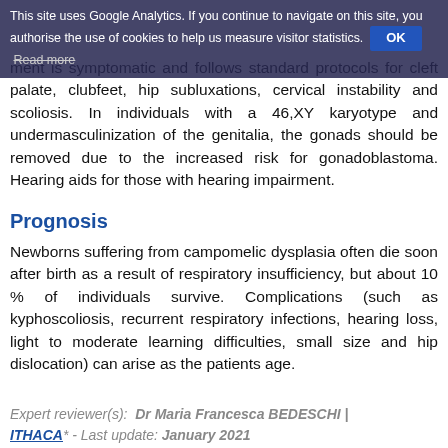This site uses Google Analytics. If you continue to navigate on this site, you authorise the use of cookies to help us measure visitor statistics. OK Read more
ment is symptomatic and follows standard protocols for cleft palate, clubfeet, hip subluxations, cervical instability and scoliosis. In individuals with a 46,XY karyotype and undermasculinization of the genitalia, the gonads should be removed due to the increased risk for gonadoblastoma. Hearing aids for those with hearing impairment.
Prognosis
Newborns suffering from campomelic dysplasia often die soon after birth as a result of respiratory insufficiency, but about 10 % of individuals survive. Complications (such as kyphoscoliosis, recurrent respiratory infections, hearing loss, light to moderate learning difficulties, small size and hip dislocation) can arise as the patients age.
Expert reviewer(s):  Dr Maria Francesca BEDESCHI | ITHACA* - Last update: January 2021
* European Reference Network